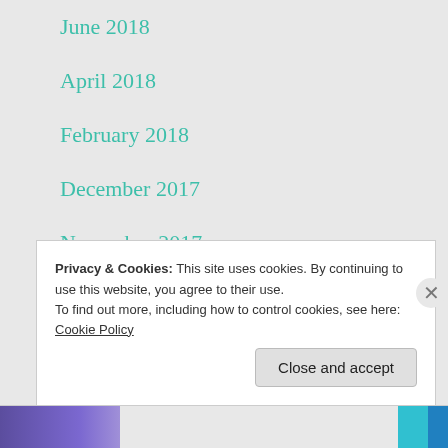June 2018
April 2018
February 2018
December 2017
November 2017
October 2017
Privacy & Cookies: This site uses cookies. By continuing to use this website, you agree to their use.
To find out more, including how to control cookies, see here: Cookie Policy
Close and accept